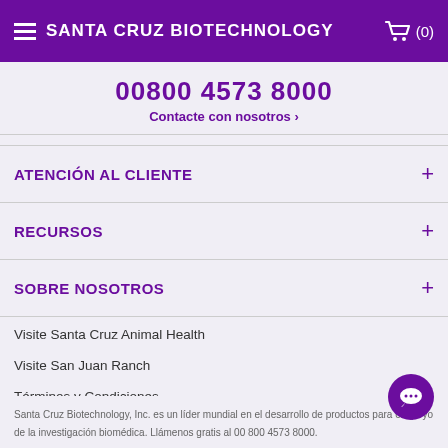SANTA CRUZ BIOTECHNOLOGY (0)
00800 4573 8000
Contacte con nosotros ›
ATENCIÓN AL CLIENTE +
RECURSOS +
SOBRE NOSOTROS +
Visite Santa Cruz Animal Health
Visite San Juan Ranch
Términos y Condiciones
Legal
Política de Privacidad
Santa Cruz Biotechnology, Inc. es un líder mundial en el desarrollo de productos para el apoyo de la investigación biomédica. Llámenos gratis al 00 800 4573 8000.